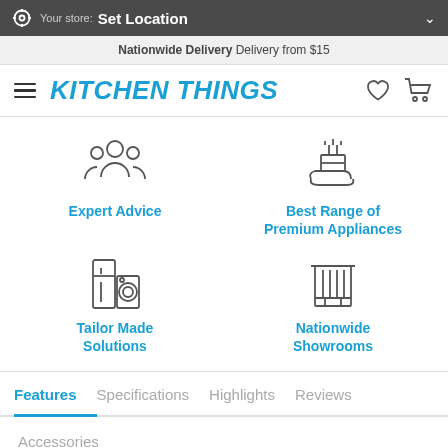Your store: Set Location
Nationwide Delivery  Delivery from $15
KITCHEN THINGS
[Figure (illustration): Four feature icons in a 2x2 grid: Expert Advice (group of people icon), Best Range of Premium Appliances (hand holding appliance icon), Tailor Made Solutions (fridge and washer icon), Nationwide Showrooms (building/store icon)]
Expert Advice
Best Range of Premium Appliances
Tailor Made Solutions
Nationwide Showrooms
Features
Specifications
Highlights
Reviews
Accessories